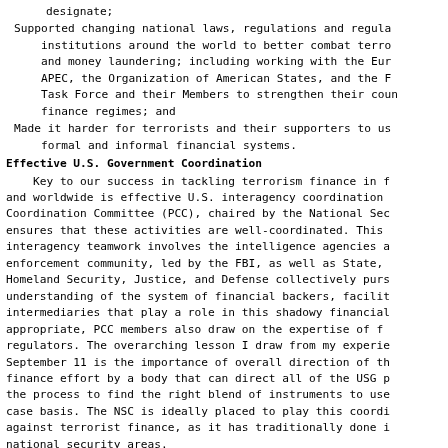designate;
Supported changing national laws, regulations and regulatory institutions around the world to better combat terrorism and money laundering; including working with the Euro APEC, the Organization of American States, and the F Task Force and their Members to strengthen their coun finance regimes; and
Made it harder for terrorists and their supporters to use formal and informal financial systems.
Effective U.S. Government Coordination
Key to our success in tackling terrorism finance in f and worldwide is effective U.S. interagency coordination Coordination Committee (PCC), chaired by the National Sec ensures that these activities are well-coordinated. This interagency teamwork involves the intelligence agencies a enforcement community, led by the FBI, as well as State, Homeland Security, Justice, and Defense collectively purs understanding of the system of financial backers, facili intermediaries that play a role in this shadowy financial appropriate, PCC members also draw on the expertise of f regulators. The overarching lesson I draw from my experie September 11 is the importance of overall direction of th finance effort by a body that can direct all of the USG p the process to find the right blend of instruments to use case basis. The NSC is ideally placed to play this coordi against terrorist finance, as it has traditionally done national security areas.
Treasury develops and coordinates financial packages public designations of terrorists and terrorism supporte freeze action. Treasury also leads our outreach to FATE